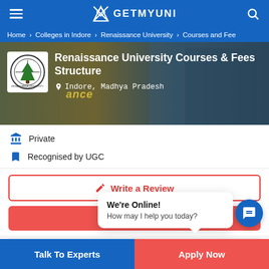GETMYUNI
Home > Colleges in Indore > Renaissance University > Courses and Fees
Renaissance University Courses & Fees Structure
Indore, Madhya Pradesh
Private
Recognised by UGC
Write a Review
Brochure
We're Online!
How may I help you today?
Talk To Experts
Apply Now